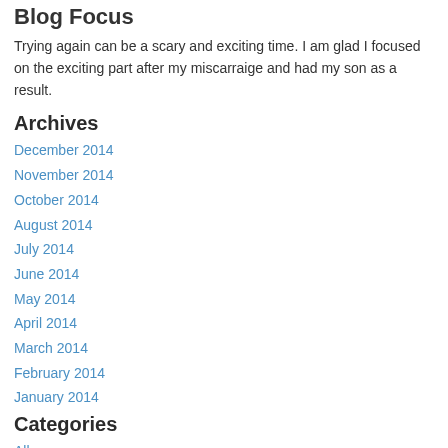Blog Focus
Trying again can be a scary and exciting time.  I am glad I focused on the exciting part after my miscarraige and had my son as a result.
Archives
December 2014
November 2014
October 2014
August 2014
July 2014
June 2014
May 2014
April 2014
March 2014
February 2014
January 2014
Categories
All
Beauty
Doctors
Ectopic